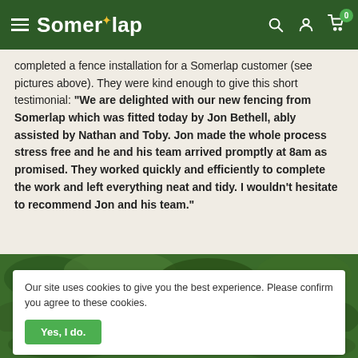Somerlap
completed a fence installation for a Somerlap customer (see pictures above). They were kind enough to give this short testimonial: "We are delighted with our new fencing from Somerlap which was fitted today by Jon Bethell, ably assisted by Nathan and Toby. Jon made the whole process stress free and he and his team arrived promptly at 8am as promised. They worked quickly and efficiently to complete the work and left everything neat and tidy. I wouldn't hesitate to recommend Jon and his team."
[Figure (photo): Green garden/outdoor foliage photo behind cookie banner]
Our site uses cookies to give you the best experience. Please confirm you agree to these cookies.
[Figure (photo): Green outdoor garden foliage photo at bottom of page]